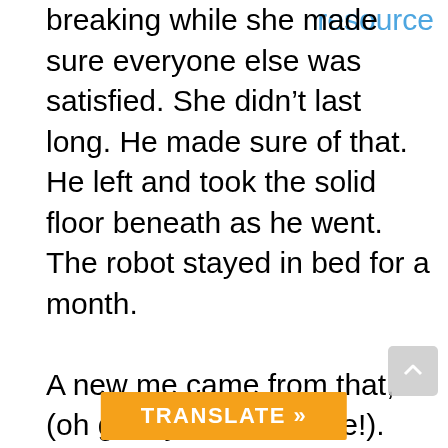breaking while she made sure everyone else was satisfied. She didn't last long. He made sure of that. He left and took the solid floor beneath as he went. The robot stayed in bed for a month.

A new me came from that, (oh goody! Another one!). She's fake from her head to her toes. Plastic smile and rosy cheeks, she is firm in her belief that LOVE will fix anything. That if she's kind and forgiving and joyful, great and wonderful things will happen. And for some time…it appears that this is true. …I was actually HAPPY for a while…it was nice… But I am caught up in my confidence and I made a choice that, after many months of hoping and hurting, has brought me here. To this deep ravine. Where I lo...aybe...I let it
resource